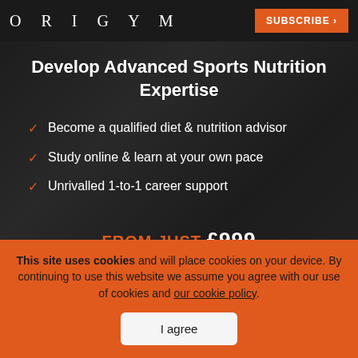ORIGYM
Develop Advanced Sports Nutrition Expertise
Become a qualified diet & nutrition advisor
Study online & learn at your own pace
Unrivalled 1-to-1 career support
FROM JUST £999
This site uses cookies and will place cookies on your device. By continuing to use this website we assume you agree with our use of cookies and our cookie policy.
I agree